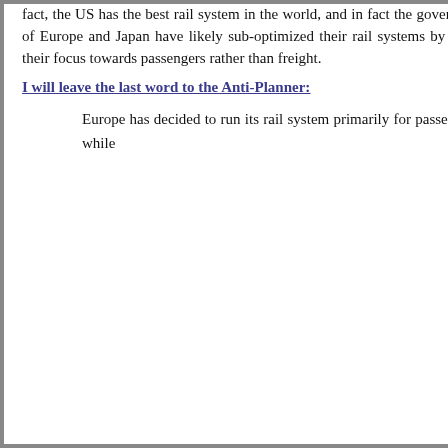fact, the US has the best rail system in the world, and in fact the governments of Europe and Japan have likely sub-optimized their rail systems by forcing their focus towards passengers rather than freight.
I will leave the last word to the Anti-Planner:
Europe has decided to run its rail system primarily for passengers, while
April 2014
March 2014
February 2014
January 2014
December 2013
November 2013
October 2013
September 2013
August 2013
July 2013
June 2013
May 2013
April 2013
March 2013
February 2013
January 2013
December 2012
November 2012
October 2012
September 2012
August 2012